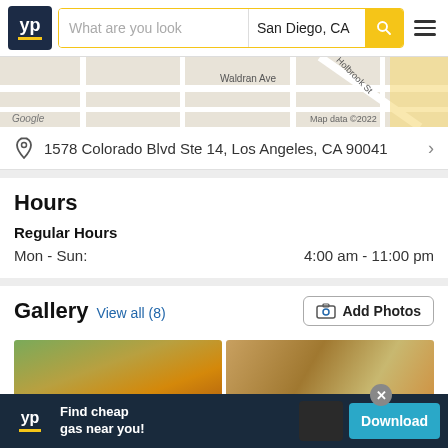YP | What are you looking for | San Diego, CA | Search
[Figure (map): Google Maps image showing street map with Waldran Ave, Holbrook St visible, Map data ©2022]
1578 Colorado Blvd Ste 14, Los Angeles, CA 90041
Hours
Regular Hours
Mon - Sun: 4:00 am - 11:00 pm
Gallery View all (8)
[Figure (photo): Food photos in gallery - left image showing pastries/donuts, right image showing baked goods]
[Figure (infographic): YP advertisement banner: Find cheap gas near you! Download button]